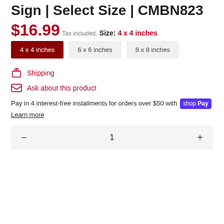Sign | Select Size | CMBN823
$16.99
Tax included.
Size: 4 x 4 inches
4 x 4 inches | 6 x 6 inches | 8 x 8 inches
Shipping
Ask about this product
Pay in 4 interest-free installments for orders over $50 with shop Pay
Learn more
1